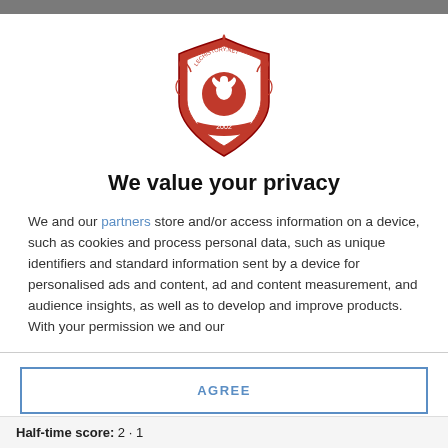[Figure (logo): Lechistory.net red crest/shield logo with a bird and decorative elements, year 2002]
We value your privacy
We and our partners store and/or access information on a device, such as cookies and process personal data, such as unique identifiers and standard information sent by a device for personalised ads and content, ad and content measurement, and audience insights, as well as to develop and improve products. With your permission we and our
AGREE
MORE OPTIONS
Half-time score: 2 · 1